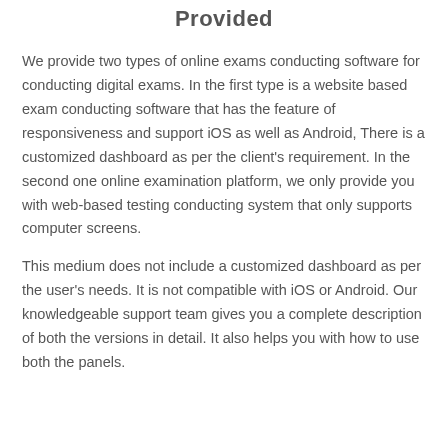Provided
We provide two types of online exams conducting software for conducting digital exams. In the first type is a website based exam conducting software that has the feature of responsiveness and support iOS as well as Android, There is a customized dashboard as per the client's requirement. In the second one online examination platform, we only provide you with web-based testing conducting system that only supports computer screens.
This medium does not include a customized dashboard as per the user's needs. It is not compatible with iOS or Android. Our knowledgeable support team gives you a complete description of both the versions in detail. It also helps you with how to use both the panels.